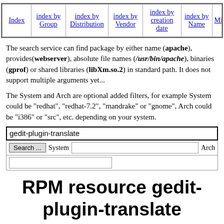| Index | index by Group | index by Distribution | index by Vendor | index by creation date | index by Name | Mirro... |
| --- | --- | --- | --- | --- | --- | --- |
|  |
The search service can find package by either name (apache), provides(webserver), absolute file names (/usr/bin/apache), binaries (gprof) or shared libraries (libXm.so.2) in standard path. It does not support multiple arguments yet...
The System and Arch are optional added filters, for example System could be "redhat", "redhat-7.2", "mandrake" or "gnome", Arch could be "i386" or "src", etc. depending on your system.
gedit-plugin-translate [search input]
RPM resource gedit-plugin-translate